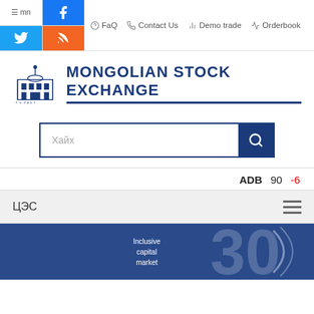mn | Facebook | Twitter | RSS | FaQ | Contact Us | Demo trade | Orderbook
[Figure (logo): Mongolian Stock Exchange logo with building illustration and bold blue text 'MONGOLIAN STOCK EXCHANGE']
Хайх (search bar)
ADB  90  -6
ЦЭС
[Figure (illustration): Mongolian Stock Exchange 30th anniversary banner with 'Inclusive capital market' text on dark blue background]